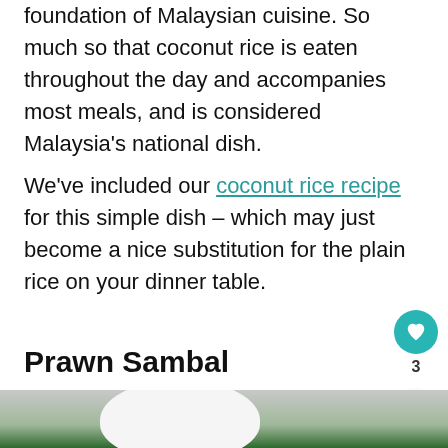foundation of Malaysian cuisine. So much so that coconut rice is eaten throughout the day and accompanies most meals, and is considered Malaysia's national dish.
We've included our coconut rice recipe for this simple dish – which may just become a nice substitution for the plain rice on your dinner table.
Prawn Sambal
[Figure (photo): Photo of a white rice ball (molded dome of white rice) on a green leaf background, partially visible at bottom of page. Overlaid with a 'WHAT'S NEXT' banner showing Tropical Spice Garden...]